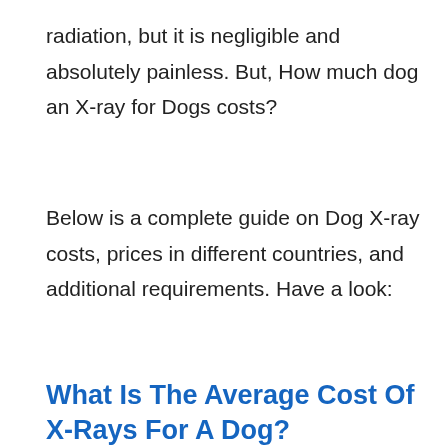radiation, but it is negligible and absolutely painless. But, How much dog an X-ray for Dogs costs?
Below is a complete guide on Dog X-ray costs, prices in different countries, and additional requirements. Have a look:
What Is The Average Cost Of X-Rays For A Dog?